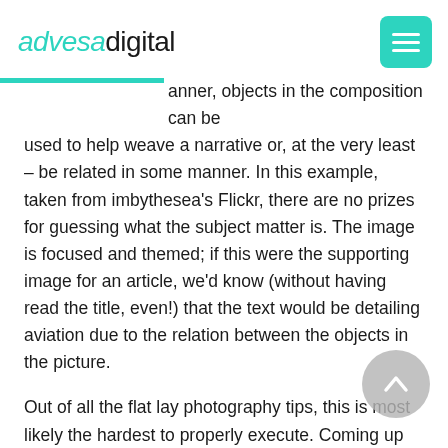advesadigital
anner, objects in the composition can be used to help weave a narrative or, at the very least – be related in some manner. In this example, taken from imbythesea's Flickr, there are no prizes for guessing what the subject matter is. The image is focused and themed; if this were the supporting image for an article, we'd know (without having read the title, even!) that the text would be detailing aviation due to the relation between the objects in the picture.
Out of all the flat lay photography tips, this is most likely the hardest to properly execute. Coming up with a creative new idea and theme for each shot can be difficult, but it need not be centered around one idea. Pivoting around one specific colour like the above flat